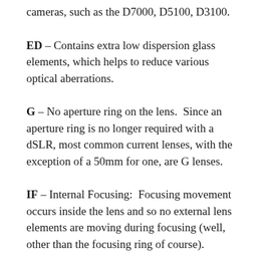cameras, such as the D7000, D5100, D3100.
ED – Contains extra low dispersion glass elements, which helps to reduce various optical aberrations.
G – No aperture ring on the lens.  Since an aperture ring is no longer required with a dSLR, most common current lenses, with the exception of a 50mm for one, are G lenses.
IF – Internal Focusing:  Focusing movement occurs inside the lens and so no external lens elements are moving during focusing (well, other than the focusing ring of course).